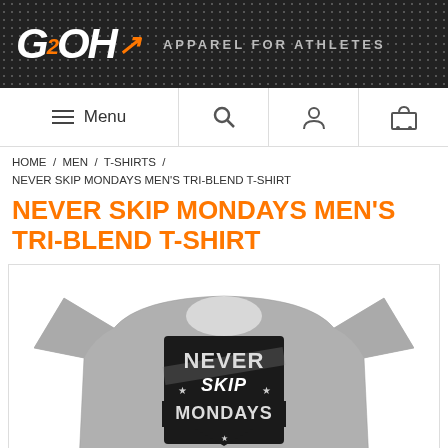[Figure (logo): G2OH logo with orange arrow and tagline APPAREL FOR ATHLETES on dark textured background]
[Figure (screenshot): Navigation bar with hamburger Menu, search icon, user icon, and cart icon]
HOME / MEN / T-SHIRTS / NEVER SKIP MONDAYS MEN'S TRI-BLEND T-SHIRT
NEVER SKIP MONDAYS MEN'S TRI-BLEND T-SHIRT
[Figure (photo): Gray tri-blend t-shirt with Never Skip Mondays graphic design in black and white on the chest]